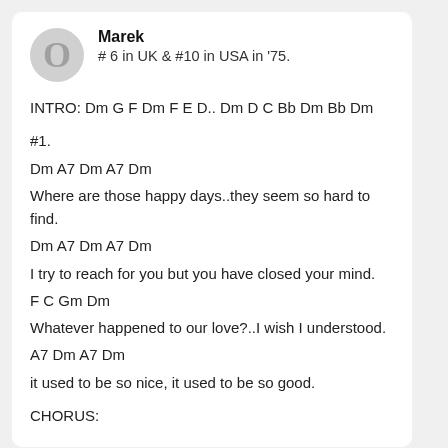Marek
# 6 in UK & #10 in USA in '75.
INTRO: Dm G F Dm F E D.. Dm D C Bb Dm Bb Dm
#1.
Dm A7 Dm A7 Dm
Where are those happy days..they seem so hard to find.
Dm A7 Dm A7 Dm
I try to reach for you but you have closed your mind.
F C Gm Dm
Whatever happened to our love?..I wish I understood.
A7 Dm A7 Dm
it used to be so nice, it used to be so good.
CHORUS: